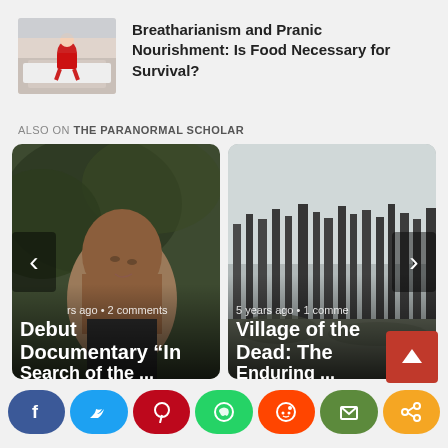[Figure (photo): Thumbnail image of person in red outfit sitting on a bed]
Breatharianism and Pranic Nourishment: Is Food Necessary for Survival?
ALSO ON THE PARANORMAL SCHOLAR
[Figure (photo): Card: woman with long hair outdoors among trees. Meta: rs ago • 2 comments. Title: Debut Documentary "In Search of the ..."]
[Figure (photo): Card: misty forest with bare trees, black and white. Meta: 5 years ago • 1 comme. Title: Village of the Dead: The Enduring ...]
[Figure (infographic): Social share bar with Facebook, Twitter, Pinterest, WhatsApp, Reddit, Email, Share buttons and a red up-arrow button]